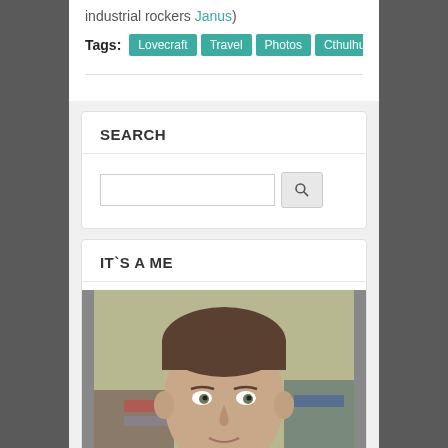industrial rockers Janus)
Tags: Lovecraft Travel Photos Cthulhu Providence USA Janus
SEARCH
IT`S A ME
[Figure (photo): Portrait photo of a man with short dark hair, looking toward camera, with bookshelves in background]